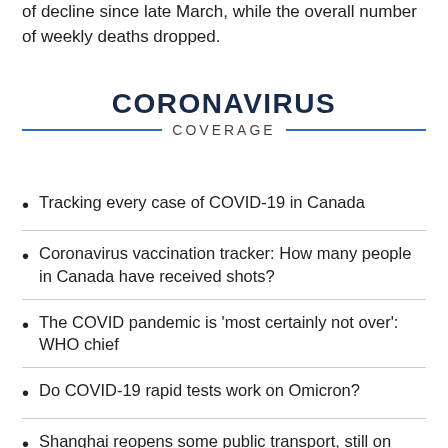of decline since late March, while the overall number of weekly deaths dropped.
[Figure (other): CORONAVIRUS COVERAGE banner with bold dark navy title and blue horizontal rules flanking subtitle text]
Tracking every case of COVID-19 in Canada
Coronavirus vaccination tracker: How many people in Canada have received shots?
The COVID pandemic is 'most certainly not over': WHO chief
Do COVID-19 rapid tests work on Omicron?
Shanghai reopens some public transport, still on high COVID alert